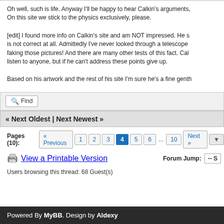Oh well, such is life. Anyway I'll be happy to hear Calkin's arguments, On this site we stick to the physics exclusively, please.
[edit] I found more info on Calkin's site and am NOT impressed. He s is not correct at all. Admittedly I've never looked through a telescope faking those pictures! And there are many other tests of this fact. Cal listen to anyone, but if he can't address these points give up.
Based on his artwork and the rest of his site I'm sure he's a fine genth
Find
« Next Oldest | Next Newest »
Pages (10): « Previous 1 2 3 4 5 6 ... 10 Next »
View a Printable Version
Forum Jump: -- S
Users browsing this thread: 68 Guest(s)
Powered By MyBB. Design by Aldexy